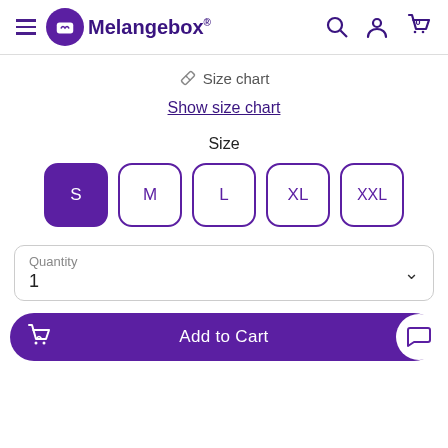Melangebox®
Size chart
Show size chart
Size
S M L XL XXL
Quantity
1
Add to Cart